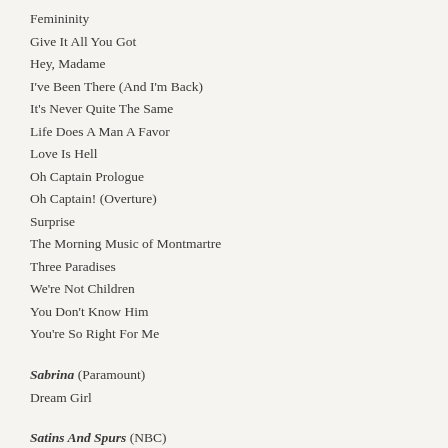Femininity
Give It All You Got
Hey, Madame
I've Been There (And I'm Back)
It's Never Quite The Same
Life Does A Man A Favor
Love Is Hell
Oh Captain Prologue
Oh Captain! (Overture)
Surprise
The Morning Music of Montmartre
Three Paradises
We're Not Children
You Don't Know Him
You're So Right For Me
Sabrina (Paramount)
Dream Girl
Satins And Spurs (NBC)
Back Home